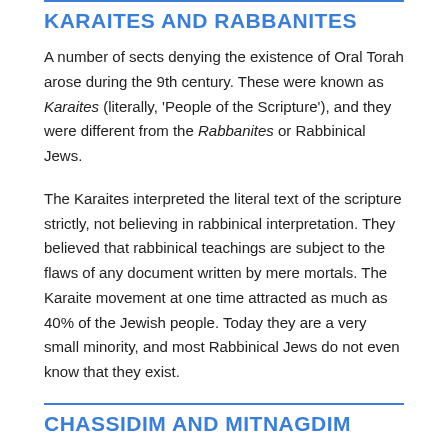KARAITES AND RABBANITES
A number of sects denying the existence of Oral Torah arose during the 9th century. These were known as Karaites (literally, 'People of the Scripture'), and they were different from the Rabbanites or Rabbinical Jews.
The Karaites interpreted the literal text of the scripture strictly, not believing in rabbinical interpretation. They believed that rabbinical teachings are subject to the flaws of any document written by mere mortals. The Karaite movement at one time attracted as much as 40% of the Jewish people. Today they are a very small minority, and most Rabbinical Jews do not even know that they exist.
CHASSIDIM AND MITNAGDIM
Chassidism was the first of the modern Jewish movements developed in the 1700s in Eastern Europe. Its founder was Israel